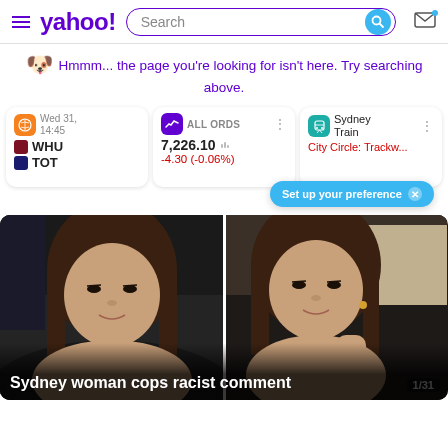yahoo! [Search bar] [Mail icon]
Hmmm... the page you're looking for isn't here. Try searching above.
[Figure (screenshot): Widget cards showing: sports match Wed 31 14:45 WHU vs TOT; ALL ORDS 7,226.10 -4.30 (-0.06%); Sydney Train City Circle: Trackw... with Set up your preference bubble]
[Figure (photo): Two side-by-side photos of a young woman in a car, with caption 'Sydney woman cops racist comment', image count 1/31]